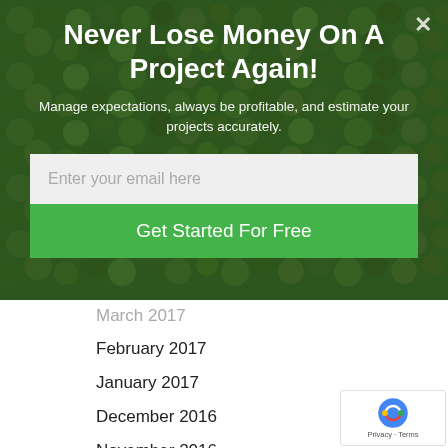Never Lose Money On A Project Again!
Manage expectations, always be profitable, and estimate your projects accurately.
Enter your email here
Get Started For Free
March 2017
February 2017
January 2017
December 2016
November 2016
October 2016
September 2016
August 2016